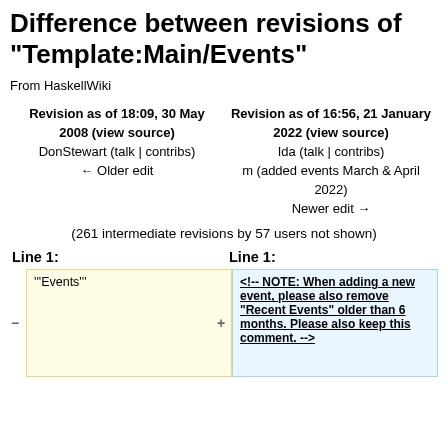Difference between revisions of "Template:Main/Events"
From HaskellWiki
| Revision as of 18:09, 30 May 2008 (view source) | Revision as of 16:56, 21 January 2022 (view source) |
| --- | --- |
| DonStewart (talk | contribs) | Ida (talk | contribs) |
| ← Older edit | m (added events March & April 2022)
Newer edit → |
(261 intermediate revisions by 57 users not shown)
Line 1:	Line 1:
'''Events'''
−
<!-- NOTE: When adding a new event, please also remove "Recent Events" older than 6 months. Please also keep this comment. -->
+